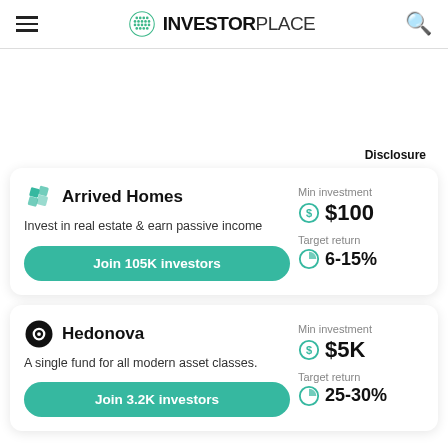INVESTORPLACE
Disclosure
Arrived Homes — Invest in real estate & earn passive income — Min investment $100 — Target return 6-15% — Join 105K investors
Hedonova — A single fund for all modern asset classes. — Min investment $5K — Target return 25-30% — Join 3.2K investors